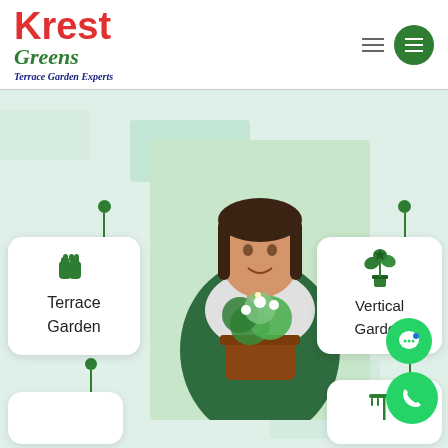Krest Greens — Terrace Garden Experts
[Figure (logo): Krest Greens Terrace Garden Experts logo with red Krest text and green Greens italic text]
[Figure (photo): Woman in green apron holding a potted flowering plant, smiling, standing in front of decorative green background]
Terrace Garden
Vertical Garden
[Figure (illustration): Bottom left partial card with pin marker]
[Figure (illustration): Bottom right partial card showing rake/garden tool icon with pin marker]